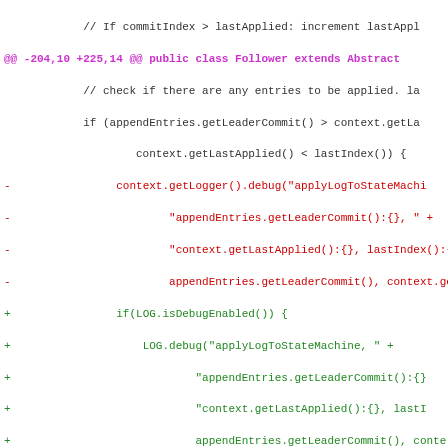// If commitIndex > lastApplied: increment lastAppl...
@@ -204,10 +225,14 @@ public class Follower extends Abstract...
code diff block showing removed and added lines for applyLogToStateMachine debug logging
@@ -259,9 +284,13 @@ public class Follower extends AbstractR...
code diff block showing removed and added lines for handleInstallSnapshot debug logging